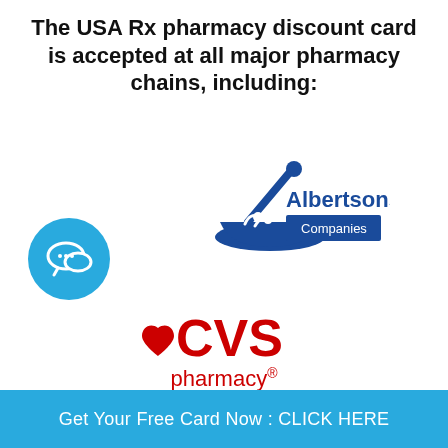The USA Rx pharmacy discount card is accepted at all major pharmacy chains, including:
[Figure (logo): Chat bubble icon - blue circle with speech bubbles]
[Figure (logo): Albertsons Companies logo - mortar and pestle with Albertsons Companies text]
[Figure (logo): CVS pharmacy logo - red heart with CVS pharmacy text]
[Figure (logo): Publix logo - green circle with P letter and Publix text]
[Figure (logo): Kmart logo - partial red zigzag K shape visible]
[Figure (logo): Blue circle with upward arrow icon]
Get Your Free Card Now : CLICK HERE